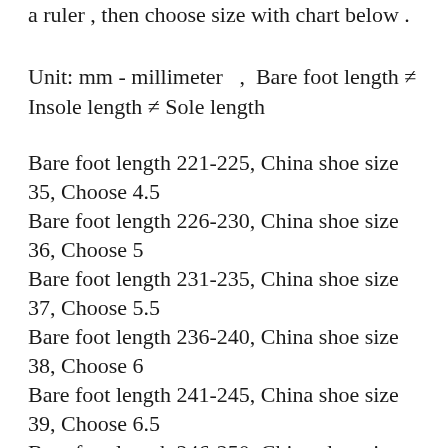a ruler , then choose size with chart below .
Unit: mm - millimeter  ,  Bare foot length ≠ Insole length ≠ Sole length
Bare foot length 221-225, China shoe size 35, Choose 4.5
Bare foot length 226-230, China shoe size 36, Choose 5
Bare foot length 231-235, China shoe size 37, Choose 5.5
Bare foot length 236-240, China shoe size 38, Choose 6
Bare foot length 241-245, China shoe size 39, Choose 6.5
Bare foot length 246-250, China shoe size 40, Choose 7
Bare foot length 251-255, China shoe size 41, Choose 8
Bare foot length 256-260, China shoe size 42, Choose 8.5
Bare foot length 261-265, China shoe size 43, Choose